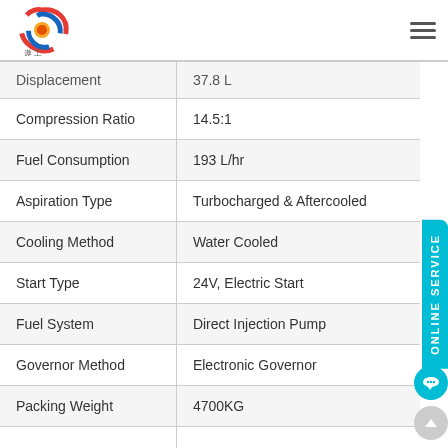[Figure (logo): Company logo with swirl design in red, blue, and yellow, with Chinese characters below]
| Parameter | Value |
| --- | --- |
| Displacement | 37.8 L |
| Compression Ratio | 14.5:1 |
| Fuel Consumption | 193 L/hr |
| Aspiration Type | Turbocharged & Aftercooled |
| Cooling Method | Water Cooled |
| Start Type | 24V, Electric Start |
| Fuel System | Direct Injection Pump |
| Governor Method | Electronic Governor |
| Packing Weight | 4700KG |